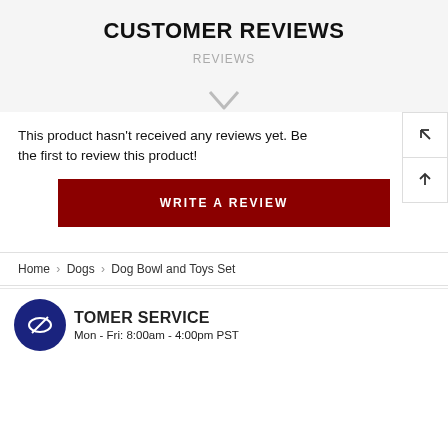CUSTOMER REVIEWS
REVIEWS
This product hasn't received any reviews yet. Be the first to review this product!
WRITE A REVIEW
Home > Dogs > Dog Bowl and Toys Set
CUSTOMER SERVICE
Mon - Fri: 8:00am - 4:00pm PST